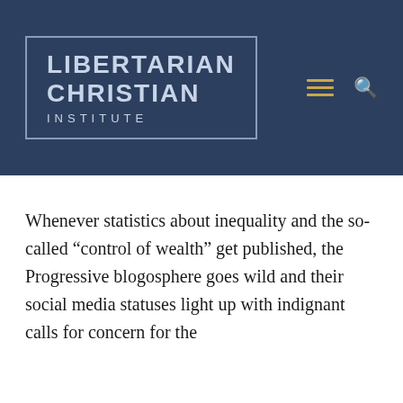[Figure (logo): Libertarian Christian Institute logo with text in a bordered box on dark navy background, with hamburger menu icon and search icon]
Whenever statistics about inequality and the so-called “control of wealth” get published, the Progressive blogosphere goes wild and their social media statuses light up with indignant calls for concern for the